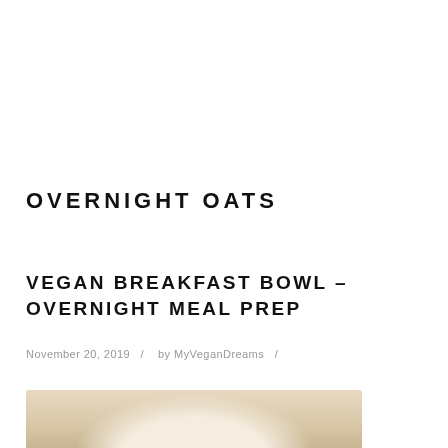OVERNIGHT OATS
VEGAN BREAKFAST BOWL – OVERNIGHT MEAL PREP
November 20, 2019  /  by MyVeganDreams  /
[Figure (photo): Photo of a vegan breakfast bowl with overnight oats, partially visible at bottom of page]